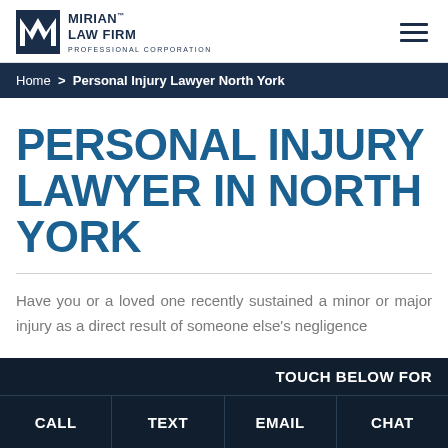[Figure (logo): Mirian Law Firm Professional Corporation logo with stylized M icon and firm name]
Home > Personal Injury Lawyer North York
PERSONAL INJURY LAWYER IN NORTH YORK
Have you or a loved one recently sustained a minor or major injury as a direct result of someone else's negligence
TOUCH BELOW FOR | CALL | TEXT | EMAIL | CHAT